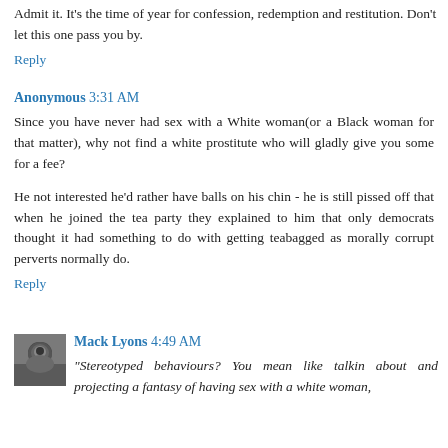Admit it. It's the time of year for confession, redemption and restitution. Don't let this one pass you by.
Reply
Anonymous 3:31 AM
Since you have never had sex with a White woman(or a Black woman for that matter), why not find a white prostitute who will gladly give you some for a fee?
He not interested he'd rather have balls on his chin - he is still pissed off that when he joined the tea party they explained to him that only democrats thought it had something to do with getting teabagged as morally corrupt perverts normally do.
Reply
Mack Lyons 4:49 AM
"Stereotyped behaviours? You mean like talkin about and projecting a fantasy of having sex with a white woman,